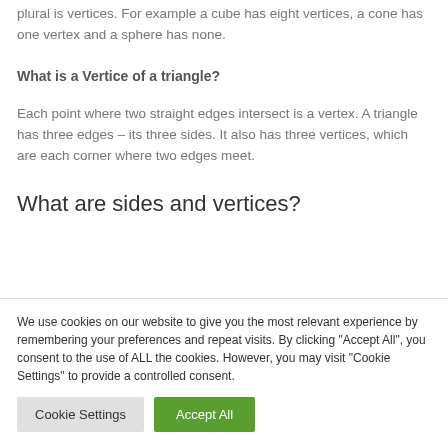plural is vertices. For example a cube has eight vertices, a cone has one vertex and a sphere has none.
What is a Vertice of a triangle?
Each point where two straight edges intersect is a vertex. A triangle has three edges – its three sides. It also has three vertices, which are each corner where two edges meet.
What are sides and vertices?
We use cookies on our website to give you the most relevant experience by remembering your preferences and repeat visits. By clicking "Accept All", you consent to the use of ALL the cookies. However, you may visit "Cookie Settings" to provide a controlled consent.